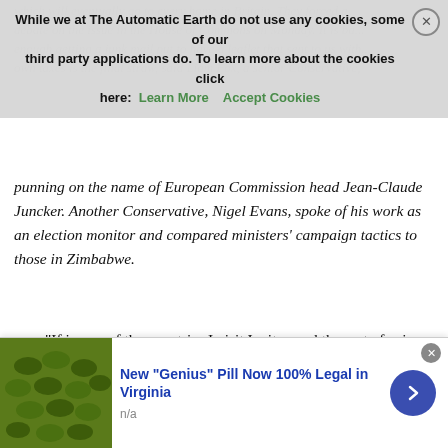which will eventually go to every home in Britain. They forced a debate on the issue in the House of Commons on Monday. It is bad enough getting a junk mail put to have a leaflet that sent to us with own taxes is the final straw, said Liam Fox, a senior Conservative
While we at The Automatic Earth do not use any cookies, some of our third party applications do. To learn more about the cookies click here: Learn More | Accept Cookies
punning on the name of European Commission head Jean-Claude Juncker. Another Conservative, Nigel Evans, spoke of his work as an election monitor and compared ministers' campaign tactics to those in Zimbabwe.
“If in any of the countries I visit I witnessed the sort of spiv (racketeer) Robert Mugabe antics that I have seen carried out by this government, I would condemn the conduct of that election as not fair,” he said. More than 200,000 people have signed a petition on parliament’s website opposing the use of taxpayers’ money to pay for the “biased” leaflet, forcing MPs to schedule another debate on the issue for May 9. The glossy, 16-page leaflet makes a series of claims including that leaving the EU would “create years of uncertainty and potential disruption” and that EU membership “makes it easier to keep
[Figure (photo): Advertisement banner at the bottom showing green pills/tablets image on left, with text 'New "Genius" Pill Now 100% Legal in Virginia' and 'n/a' below, with a blue circular arrow button on the right.]